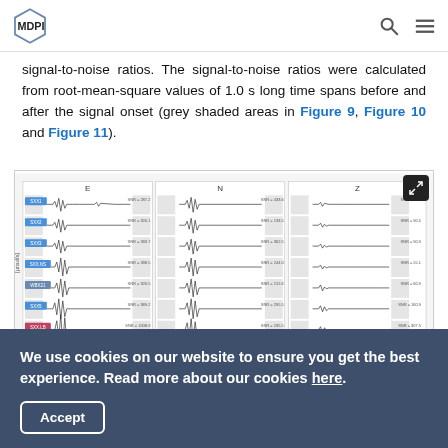MDPI
signal-to-noise ratios. The signal-to-noise ratios were calculated from root-mean-square values of 1.0 s long time spans before and after the signal onset (grey shaded areas in Figure 9, Figure 10 and Figure 11).
[Figure (continuous-plot): Multi-panel seismogram figure showing waveform traces for multiple stations across three components (E, N, Z). Each trace row shows a station label on the left, a seismic waveform with grey shaded noise windows, and an SNR value on the right. Values include SNR = 287.2, SNR = 433.6, SNR = 29.0, SNR = 326.1, SNR = 133.5, SNR = 90.5, SNR = 333.7, SNR = 362.5, SNR = 90.9, SNR = 338.5, SNR = 244.0, SNR = 55.1, SNR = 320.5, SNR = 212.6, SNR = 60.9, SNR = 389.2, SNR = 295.5, SNR = 160.9, SNR = 1008.9, SNR = 235.5, SNR = 307.5, SNR = 302.0, SNR = 100.7, SNR = 51.5]
We use cookies on our website to ensure you get the best experience. Read more about our cookies here.
Accept